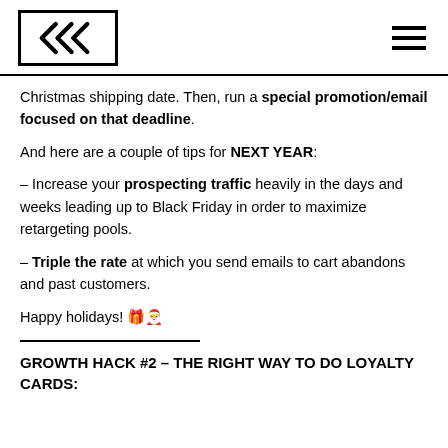KKK [logo] [hamburger menu]
Christmas shipping date. Then, run a special promotion/email focused on that deadline.
And here are a couple of tips for NEXT YEAR:
– Increase your prospecting traffic heavily in the days and weeks leading up to Black Friday in order to maximize retargeting pools.
– Triple the rate at which you send emails to cart abandons and past customers.
Happy holidays! 🎁🎅
GROWTH HACK #2 – THE RIGHT WAY TO DO LOYALTY CARDS: